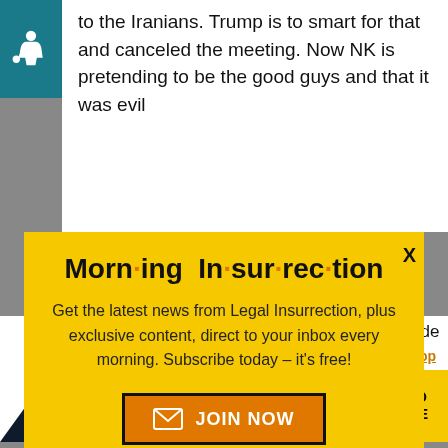to the Iranians. Trump is to smart for that and canceled the meeting. Now NK is pretending to be the good guys and that it was evil
[Figure (infographic): Morning Insurrection newsletter popup modal with yellow background. Title reads 'Morn·ing In·sur·rec·tion' with orange dots between syllables. Body text: 'Get the latest news from Legal Insurrection, plus exclusive content, direct to your inbox every morning. Subscribe today – it's free!' Orange JOIN NOW button with envelope icon.]
look good for the ...ns. This allows other side an upp... hand in
[Figure (infographic): THE PERSPECTIVE advertisement banner reading 'SEE WHAT YOU'RE MISSING' with READ MORE button in yellow]